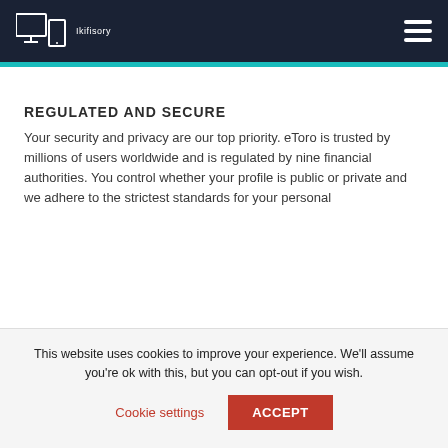Ikifisory [logo/brand name]
REGULATED AND SECURE
Your security and privacy are our top priority. eToro is trusted by millions of users worldwide and is regulated by nine financial authorities. You control whether your profile is public or private and we adhere to the strictest standards for your personal
This website uses cookies to improve your experience. We'll assume you're ok with this, but you can opt-out if you wish.
Cookie settings  ACCEPT